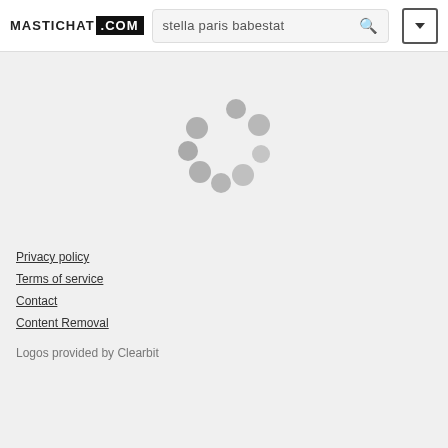MASTICHAT .COM  stella paris babestat
[Figure (other): Loading spinner animation showing grey dots in a circular arrangement]
Privacy policy
Terms of service
Contact
Content Removal
Logos provided by Clearbit